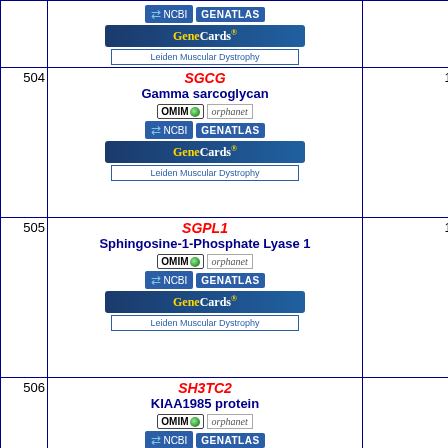| # | Gene / Protein | Info |
| --- | --- | --- |
| 504 | SGCG / Gamma sarcoglycan | 13... |
| 505 | SGPL1 / Sphingosine-1-Phosphate Lyase 1 | 10... |
| 506 | SH3TC2 / KIAA1985 protein | 5... |